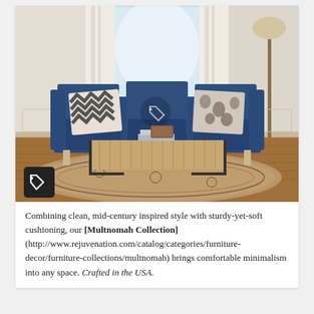[Figure (photo): A navy blue mid-century modern sofa with chevron and ikat throw pillows, set in a bright living room with white curtains and wainscoting. In front of the sofa is a rattan-topped coffee table with black metal legs on a patterned area rug. A price-tag icon button appears in the lower-left corner of the image.]
Combining clean, mid-century inspired style with sturdy-yet-soft cushioning, our **[Multnomah Collection](http://www.rejuvenation.com/catalog/categories/furniture-decor/furniture-collections/multnomah)** brings comfortable minimalism into any space. *Crafted in the USA.*